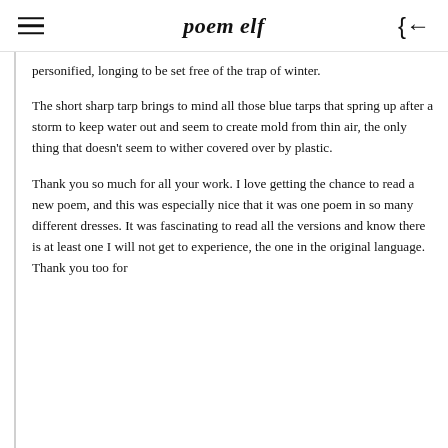poem elf
personified, longing to be set free of the trap of winter.
The short sharp tarp brings to mind all those blue tarps that spring up after a storm to keep water out and seem to create mold from thin air, the only thing that doesn't seem to wither covered over by plastic.
Thank you so much for all your work. I love getting the chance to read a new poem, and this was especially nice that it was one poem in so many different dresses. It was fascinating to read all the versions and know there is at least one I will not get to experience, the one in the original language. Thank you too for